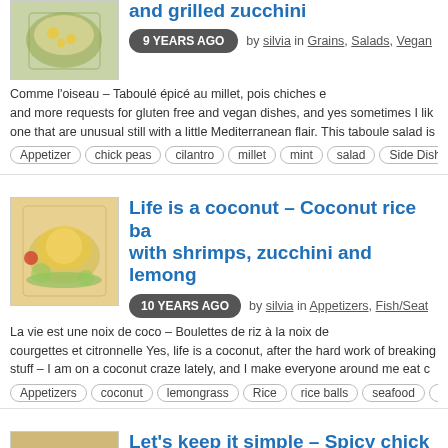[Figure (photo): Food photo: taboule salad in a glass bowl with chick peas]
and grilled zucchini
9 YEARS AGO  by silvia in Grains, Salads, Vegan
Comme l'oiseau – Taboulé épicé au millet, pois chiches e... and more requests for gluten free and vegan dishes, and yes sometimes I lik... one that are unusual still with a little Mediterranean flair. This taboule salad is...
Appetizer  chick peas  cilantro  millet  mint  salad  Side Dish  Vegan  vege...
[Figure (photo): Food photo: coconut rice balls with shrimps on a plate]
Life is a coconut – Coconut rice ba... with shrimps, zucchini and lemong...
10 YEARS AGO  by silvia in Appetizers, Fish/Seat...
La vie est une noix de coco – Boulettes de riz à la noix de... courgettes et citronnelle Yes, life is a coconut, after the hard work of breaking... stuff – I am on a coconut craze lately, and I make everyone around me eat c...
Appetizers  coconut  lemongrass  Rice  rice balls  seafood  shrimps  zucchi...
[Figure (photo): Food photo: spicy chick peas with ribbon vegetable salad and yogurt sauce]
Let's keep it simple – Spicy chick p... ribbon vegetable salad, yogurt sau...